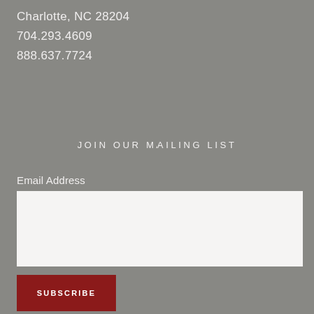Charlotte, NC 28204
704.293.4609
888.637.7724
JOIN OUR MAILING LIST
Email Address
[Figure (other): White email address input text field]
[Figure (other): Dark red SUBSCRIBE button]